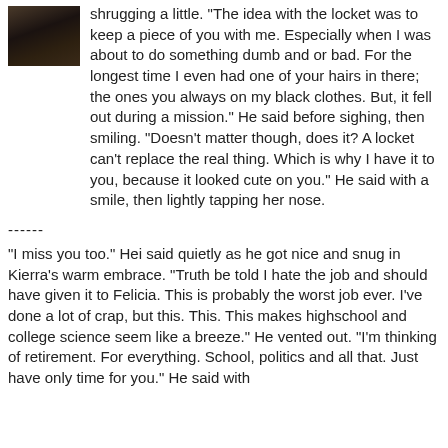[Figure (photo): Small avatar photo, dark/shadowy image of a person or scene]
shrugging a little. "The idea with the locket was to keep a piece of you with me. Especially when I was about to do something dumb and or bad. For the longest time I even had one of your hairs in there; the ones you always on my black clothes. But, it fell out during a mission." He said before sighing, then smiling. "Doesn't matter though, does it? A locket can't replace the real thing. Which is why I have it to you, because it looked cute on you." He said with a smile, then lightly tapping her nose.
------
"I miss you too." Hei said quietly as he got nice and snug in Kierra's warm embrace. "Truth be told I hate the job and should have given it to Felicia. This is probably the worst job ever. I've done a lot of crap, but this. This. This makes highschool and college science seem like a breeze." He vented out. "I'm thinking of retirement. For everything. School, politics and all that. Just have only time for you." He said with